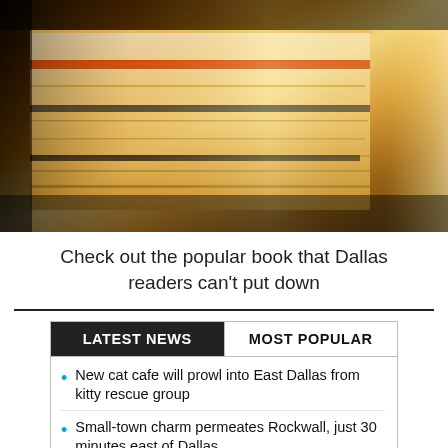[Figure (photo): Stack of books photographed from the side, showing pages and spines, warm golden-brown tones with dramatic lighting]
Check out the popular book that Dallas readers can't put down
LATEST NEWS | MOST POPULAR
New cat cafe will prowl into East Dallas from kitty rescue group
Small-town charm permeates Rockwall, just 30 minutes east of Dallas
What's on in Dallas this long weekend...